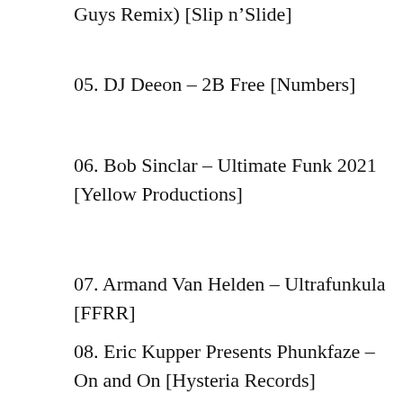Guys Remix) [Slip n’Slide]
05. DJ Deeon – 2B Free [Numbers]
06. Bob Sinclar – Ultimate Funk 2021 [Yellow Productions]
07. Armand Van Helden – Ultrafunkula [FFRR]
08. Eric Kupper Presents Phunkfaze – On and On [Hysteria Records]
Privacy & Cookies: This site uses cookies. By continuing to use this website, you agree to their use.
To find out more, including how to control cookies, see here:
Cookie Policy
Close and accept
09. Jean-Marc Feat. T.D. Jakes – Don’t Lose